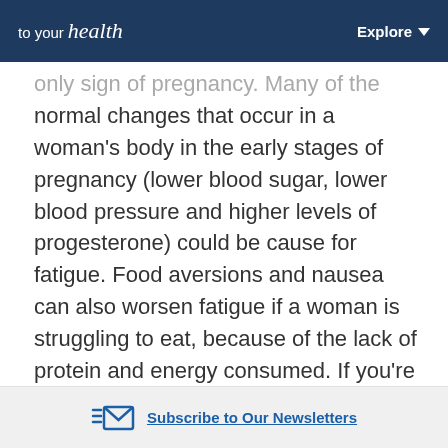to your health | Explore
only sign of pregnancy. Many of the normal changes that occur in a woman’s body in the early stages of pregnancy (lower blood sugar, lower blood pressure and higher levels of progesterone) could be cause for fatigue. Food aversions and nausea can also worsen fatigue if a woman is struggling to eat, because of the lack of protein and energy consumed. If you’re experiencing exhaustion, make sure to get plenty of rest. Take a nap when you can, schedule a little more downtime for yourself and...
Subscribe to Our Newsletters